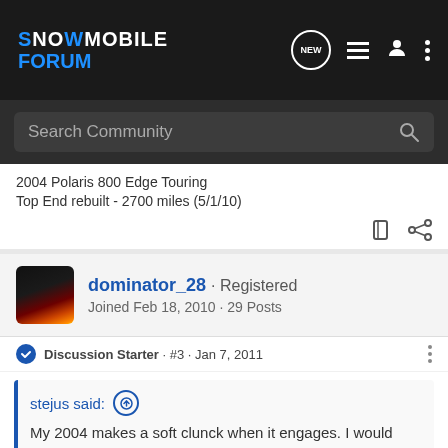[Figure (logo): Snowmobile Forum logo, white and blue text on dark background, with nav icons]
Search Community
2004 Polaris 800 Edge Touring
Top End rebuilt - 2700 miles (5/1/10)
dominator_28 · Registered
Joined Feb 18, 2010 · 29 Posts
Discussion Starter · #3 · Jan 7, 2011
stejus said:
My 2004 makes a soft clunck when it engages. I would think this is normal. Anyone else?
thank you for writting i never herd it in all the years i had it since